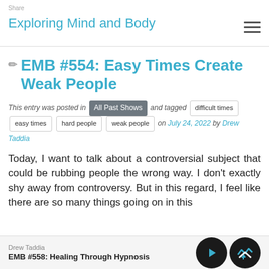Exploring Mind and Body
✏ EMB #554: Easy Times Create Weak People
This entry was posted in All Past Shows and tagged difficult times easy times hard people weak people on July 24, 2022 by Drew Taddia
Today, I want to talk about a controversial subject that could be rubbing people the wrong way. I don't exactly shy away from controversy. But in this regard, I feel like there are so many things going on in this
Drew Taddia
EMB #558: Healing Through Hypnosis